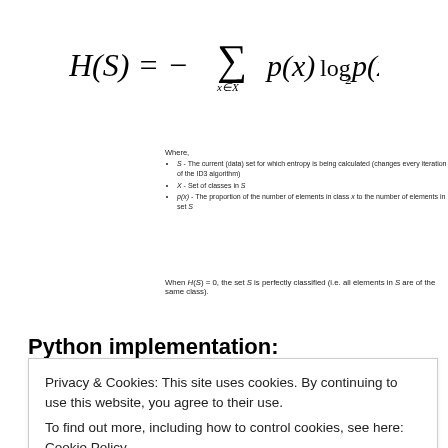S - The current (data) set for which entropy is being calculated (changes every iteration of the ID3 algorithm)
X - Set of classes in S
p(x) - The proportion of the number of elements in class x to the number of elements in set S
When H(S) = 0, the set S is perfectly classified (i.e. all elements in S are of the same class).
Python implementation:
Privacy & Cookies: This site uses cookies. By continuing to use this website, you agree to their use.
To find out more, including how to control cookies, see here: Cookie Policy
val_freq = {}